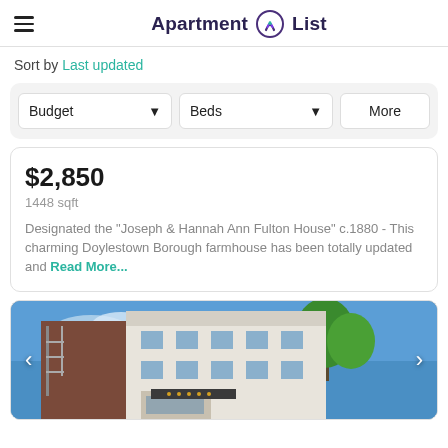Apartment List
Sort by Last updated
Budget | Beds | More
$2,850
1448 sqft

Designated the "Joseph & Hannah Ann Fulton House" c.1880 - This charming Doylestown Borough farmhouse has been totally updated and Read More...
[Figure (photo): Street-level view of a multi-story brick and white facade building with fire escapes and green trees against a blue sky, with navigation arrows on left and right]